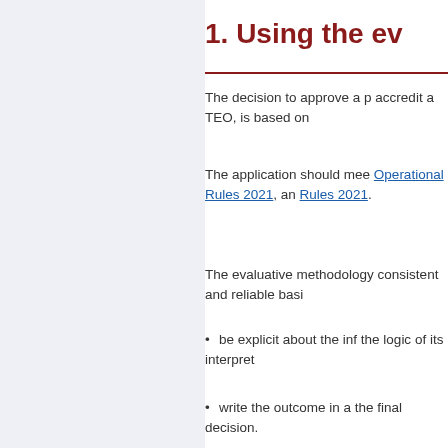1. Using the ev
The decision to approve a p accredit a TEO, is based on
The application should mee Operational Rules 2021, an Rules 2021.
The evaluative methodology consistent and reliable basi
be explicit about the inf the logic of its interpret
write the outcome in a the final decision.